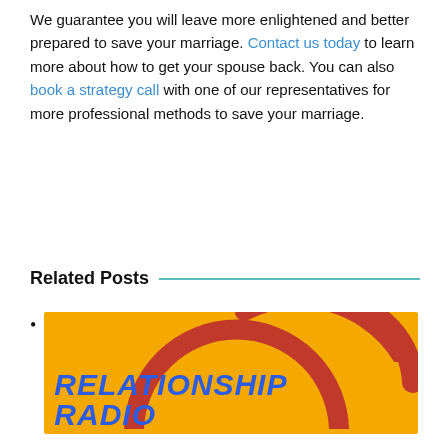We guarantee you will leave more enlightened and better prepared to save your marriage. Contact us today to learn more about how to get your spouse back. You can also book a strategy call with one of our representatives for more professional methods to save your marriage.
Related Posts
Relationship Radio [image/podcast graphic]
[Figure (illustration): Podcast cover art on orange/yellow background with 'RELATIONSHIP RADIO' in bold blue italic text and a red/orange headphone arc graphic]